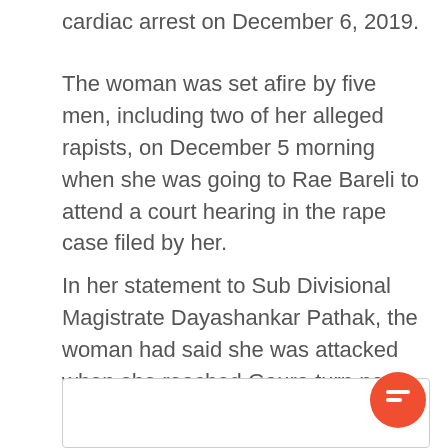cardiac arrest on December 6, 2019.
The woman was set afire by five men, including two of her alleged rapists, on December 5 morning when she was going to Rae Bareli to attend a court hearing in the rape case filed by her.
In her statement to Sub Divisional Magistrate Dayashankar Pathak, the woman had said she was attacked when she reached Gaura turn near her home on her way to the court.
[Figure (other): Comment/chat interface box at the bottom of the page with an orange chat button icon in the lower right corner]